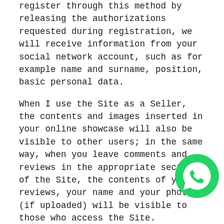register through this method by releasing the authorizations requested during registration, we will receive information from your social network account, such as for example name and surname, position, basic personal data.
When I use the Site as a Seller, the contents and images inserted in your online showcase will also be visible to other users; in the same way, when you leave comments and reviews in the appropriate sections of the Site, the contents of your reviews, your name and your photo (if uploaded) will be visible to those who access the Site.
Sensitive data
We do not process sensitive data, or details on physical health or mental health, on the alleged commission of crimes or criminal convictions, however,
[Figure (logo): WhatsApp logo — green circle with white phone handset icon]